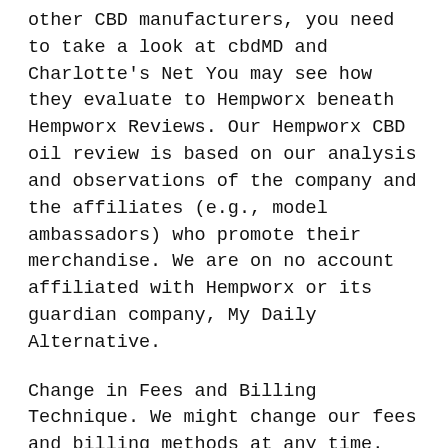other CBD manufacturers, you need to take a look at cbdMD and Charlotte's Net You may see how they evaluate to Hempworx beneath Hempworx Reviews. Our Hempworx CBD oil review is based on our analysis and observations of the company and the affiliates (e.g., model ambassadors) who promote their merchandise. We are on no account affiliated with Hempworx or its guardian company, My Daily Alternative.
Change in Fees and Billing Technique. We might change our fees and billing methods at any time. We'll give you notice of any price increase at the least thirty (30) days prematurely. Topic to relevant regulation, (i) for those who disagree with any proposed change, your sole remedy is to cancel your charge-primarily based Service before the